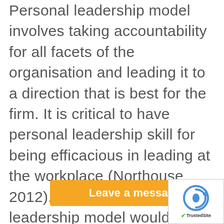Personal leadership model involves taking accountability for all facets of the organisation and leading it to a direction that is best for the firm. It is critical to have personal leadership skill for being efficacious in leading at the workplace (Northouse 2012). Hence, my personal leadership model would focus on exploring my analyst leadership style. My leadership style would consider the three major areas of leadership, including ethics, teamwork and management. I will discuss the needed qualities of an effective leader in further sections for providing a well-rounded ones: my perso...